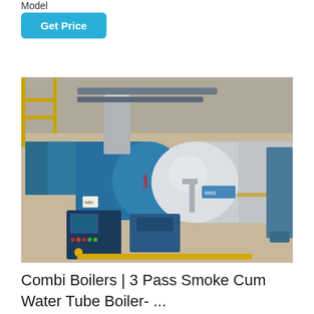Model
Get Price
[Figure (photo): Industrial boiler equipment — Combi Boiler, 3 Pass Smoke Cum Water Tube Boiler. Shows large cylindrical blue and silver boiler units in a factory/industrial setting with Chinese characters on the boiler body, control panel on the left, and pipework visible throughout.]
Combi Boilers | 3 Pass Smoke Cum Water Tube Boiler- ...